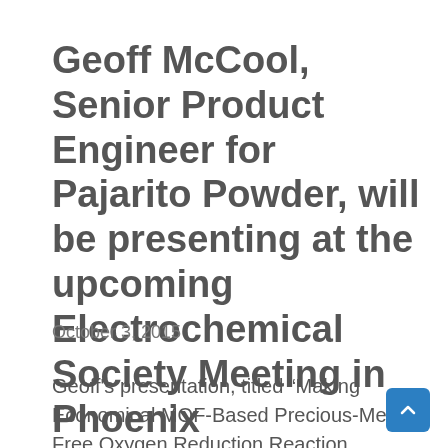Geoff McCool, Senior Product Engineer for Pajarito Powder, will be presenting at the upcoming Electrochemical Society Meeting in Phoenix
October 3, 2015
Geoff's presentation, titled “Making Economical MOF-Based Precious-Metal Free Oxygen Reduction Reaction Catalysts” will be Tuesday, October 13, 2015: 14:00, in room 212-A (Phoenix